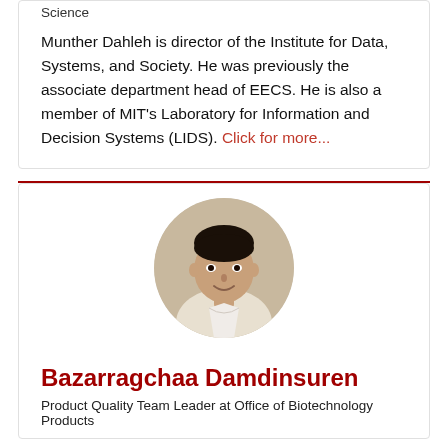Science
Munther Dahleh is director of the Institute for Data, Systems, and Society. He was previously the associate department head of EECS. He is also a member of MIT's Laboratory for Information and Decision Systems (LIDS). Click for more...
[Figure (photo): Circular profile photo of Bazarragchaa Damdinsuren, a man in a white shirt, smiling]
Bazarragchaa Damdinsuren
Product Quality Team Leader at Office of Biotechnology Products